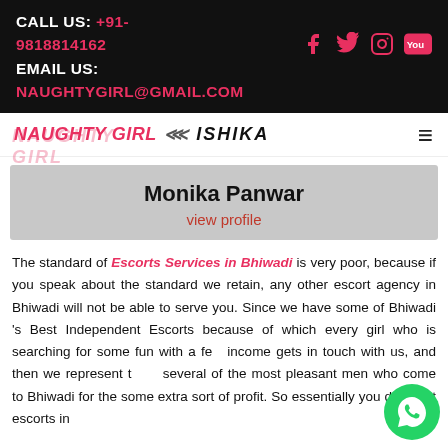CALL US: +91-9818814162 EMAIL US: NAUGHTYGIRL@GMAIL.COM
NAUGHTY GIRL ISHIKA
Monika Panwar
view profile
The standard of Escorts Services in Bhiwadi is very poor, because if you speak about the standard we retain, any other escort agency in Bhiwadi will not be able to serve you. Since we have some of Bhiwadi 's Best Independent Escorts because of which every girl who is searching for some fun with a few income gets in touch with us, and then we represent them several of the most pleasant men who come to Bhiwadi for the some extra sort of profit. So essentially you don't get escorts in